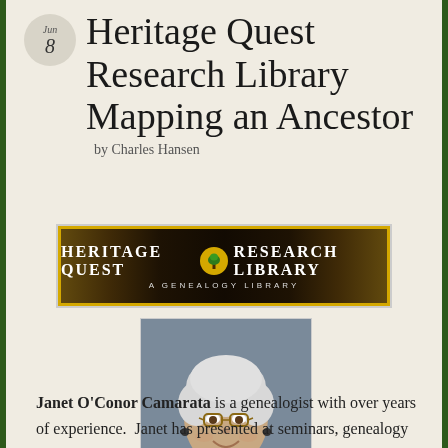Heritage Quest Research Library Mapping an Ancestor
by Charles Hansen
[Figure (logo): Heritage Quest Research Library logo — black background with gold border, white text reading HERITAGE QUEST RESEARCH LIBRARY with a tree icon, subtitle A GENEALOGY LIBRARY]
[Figure (photo): Portrait photo of Janet O'Conor Camarata, an older woman with white/grey hair, glasses, smiling, wearing earrings]
Janet O'Conor Camarata is a genealogist with over years of experience. Janet has presented at seminars, genealogy libraries and societies and retirement center